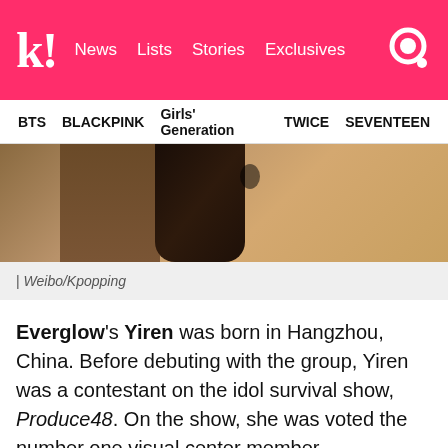k! News Lists Stories Exclusives
BTS BLACKPINK Girls' Generation TWICE SEVENTEEN
[Figure (photo): Partial photo of a person from behind wearing a tan/beige coat]
| Weibo/Kpopping
Everglow's Yiren was born in Hangzhou, China. Before debuting with the group, Yiren was a contestant on the idol survival show, Produce48. On the show, she was voted the number one visual center member.
In Everglow, Yiren is a visual member, center member, and face of the group, as well as the